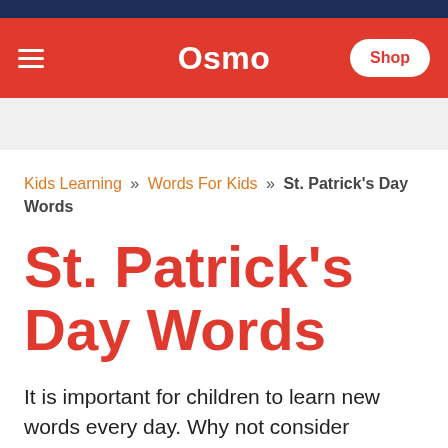Osmo | Shop
Kids Learning » Words For Kids » St. Patrick's Day Words
St. Patrick's Day Words
It is important for children to learn new words every day. Why not consider teaching